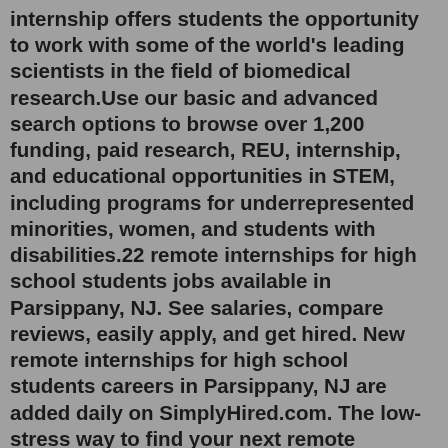internship offers students the opportunity to work with some of the world's leading scientists in the field of biomedical research.Use our basic and advanced search options to browse over 1,200 funding, paid research, REU, internship, and educational opportunities in STEM, including programs for underrepresented minorities, women, and students with disabilities.22 remote internships for high school students jobs available in Parsippany, NJ. See salaries, compare reviews, easily apply, and get hired. New remote internships for high school students careers in Parsippany, NJ are added daily on SimplyHired.com. The low-stress way to find your next remote internships for high school students job opportunity is on SimplyHired.Psychology Residents spend three days per week at their major rotation and one day per week at a minor rotation. The remaining day is spent in didactic activities and working on research. Below is an introductory message from the program's training director, Dr. Marc Steinberg followed by messages from the supervisors of the six